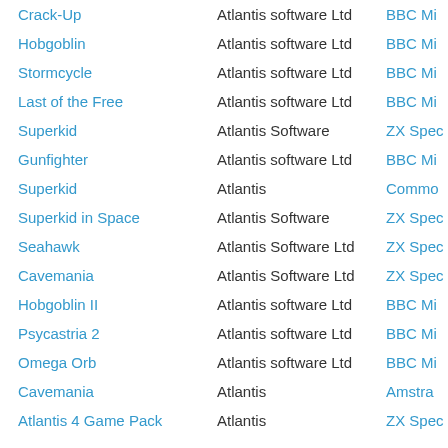| Title | Publisher | Platform |
| --- | --- | --- |
| Crack-Up | Atlantis software Ltd | BBC Mi |
| Hobgoblin | Atlantis software Ltd | BBC Mi |
| Stormcycle | Atlantis software Ltd | BBC Mi |
| Last of the Free | Atlantis software Ltd | BBC Mi |
| Superkid | Atlantis Software | ZX Spec |
| Gunfighter | Atlantis software Ltd | BBC Mi |
| Superkid | Atlantis | Commo |
| Superkid in Space | Atlantis Software | ZX Spec |
| Seahawk | Atlantis Software Ltd | ZX Spec |
| Cavemania | Atlantis Software Ltd | ZX Spec |
| Hobgoblin II | Atlantis software Ltd | BBC Mi |
| Psycastria 2 | Atlantis software Ltd | BBC Mi |
| Omega Orb | Atlantis software Ltd | BBC Mi |
| Cavemania | Atlantis | Amstra |
| Atlantis 4 Game Pack | Atlantis | ZX Spec |